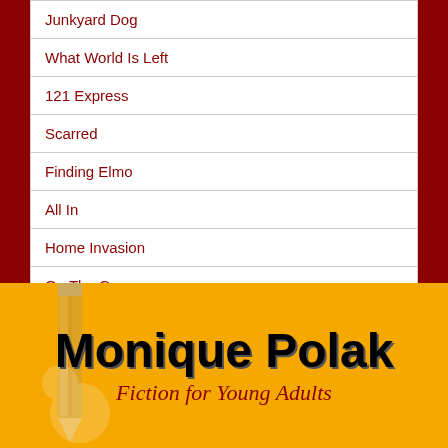Junkyard Dog
What World Is Left
121 Express
Scarred
Finding Elmo
All In
Home Invasion
On The Game
No More Pranks
Flip Turn
[Figure (logo): Monique Polak - Fiction for Young Adults banner on yellow/gold background with pencil illustration]